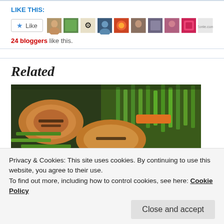LIKE THIS:
[Figure (screenshot): Like button widget with star icon and 10 blogger avatar thumbnails]
24 bloggers like this.
Related
[Figure (photo): Close-up photo of grilled chicken and vegetables including green beans and carrots]
Privacy & Cookies: This site uses cookies. By continuing to use this website, you agree to their use.
To find out more, including how to control cookies, see here: Cookie Policy
Close and accept